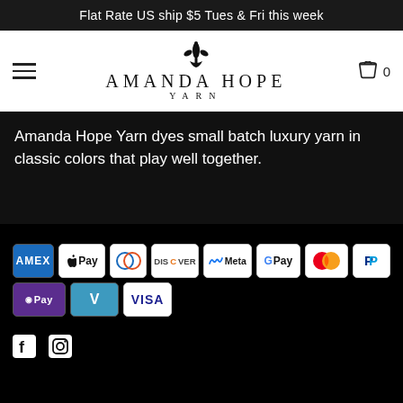Flat Rate US ship $5 Tues & Fri this week
[Figure (logo): Amanda Hope Yarn logo with fleur-de-lis symbol, serif text AMANDA HOPE YARN]
Amanda Hope Yarn dyes small batch luxury yarn in classic colors that play well together.
[Figure (other): Payment method icons: AMEX, Apple Pay, Diners Club, Discover, Meta Pay, Google Pay, Mastercard, PayPal, OPay, Venmo, Visa]
[Figure (other): Social media icons: Facebook and Instagram]